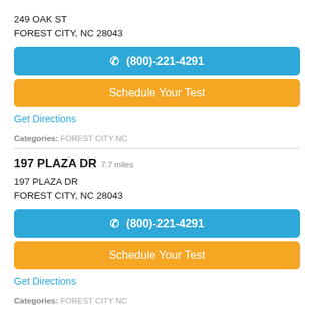249 OAK ST
FOREST CITY, NC 28043
☎ (800)-221-4291
Schedule Your Test
Get Directions
Categories: FOREST CITY NC
197 PLAZA DR 7.7 miles
197 PLAZA DR
FOREST CITY, NC 28043
☎ (800)-221-4291
Schedule Your Test
Get Directions
Categories: FOREST CITY NC